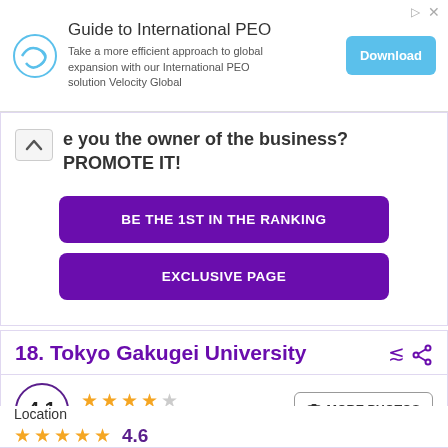[Figure (infographic): Advertisement banner for Guide to International PEO by Velocity Global. Contains logo, title, description text, and Download button.]
e you the owner of the business? PROMOTE IT!
BE THE 1ST IN THE RANKING
EXCLUSIVE PAGE
18. Tokyo Gakugei University
4.1
134 reviews
MORE PHOTOS
Location
4.6